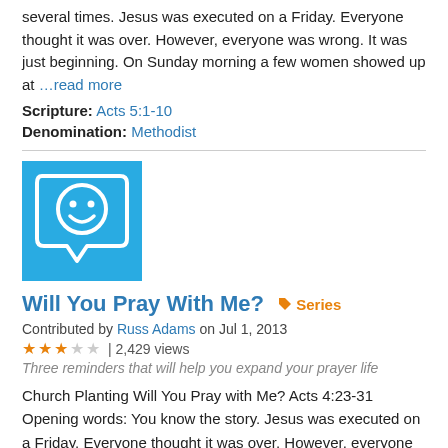several times. Jesus was executed on a Friday. Everyone thought it was over. However, everyone was wrong. It was just beginning. On Sunday morning a few women showed up at …read more
Scripture: Acts 5:1-10
Denomination: Methodist
[Figure (illustration): Blue square icon with a white speech bubble containing a smiley face]
Will You Pray With Me?  ♦ Series
Contributed by Russ Adams on Jul 1, 2013
★★★☆☆ | 2,429 views
Three reminders that will help you expand your prayer life
Church Planting Will You Pray with Me? Acts 4:23-31 Opening words: You know the story. Jesus was executed on a Friday. Everyone thought it was over. However, everyone was wrong. It was just beginning. On Sunday morning a few women showed up at his tomb to pay their final respects. They made a …read